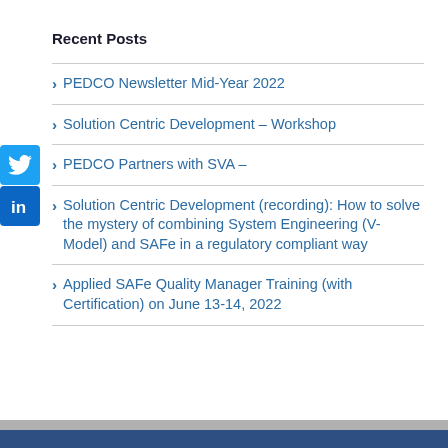Recent Posts
PEDCO Newsletter Mid-Year 2022
Solution Centric Development – Workshop
PEDCO Partners with SVA –
Solution Centric Development (recording): How to solve the mystery of combining System Engineering (V-Model) and SAFe in a regulatory compliant way
Applied SAFe Quality Manager Training (with Certification) on June 13-14, 2022